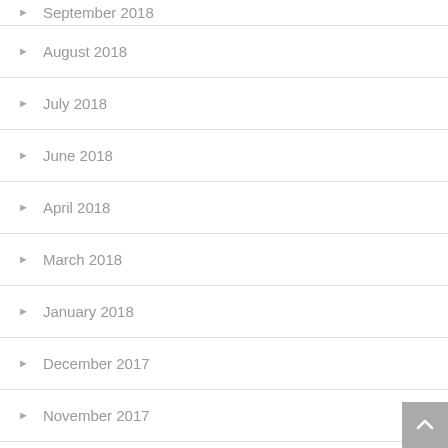September 2018
August 2018
July 2018
June 2018
April 2018
March 2018
January 2018
December 2017
November 2017
September 2017